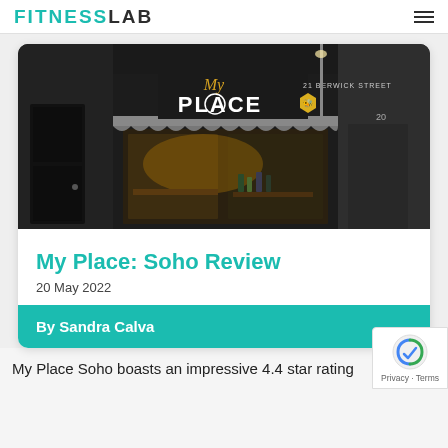FITNESSLAB
[Figure (photo): Exterior nighttime photo of 'My Place' restaurant at 21 Berwick Street, Soho — dark storefront with illuminated signage showing 'My PLACE' in gold and white lettering, with an awning and a view through the window to the interior.]
My Place: Soho Review
20 May 2022
By Sandra Calva
My Place Soho boasts an impressive 4.4 star rating